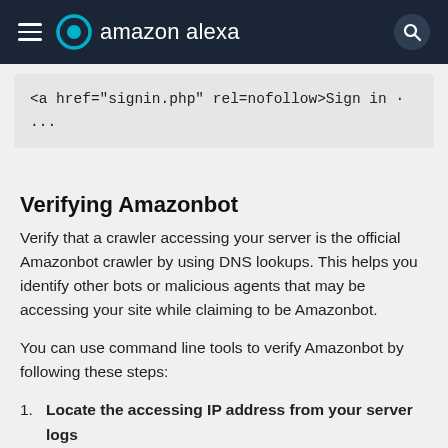amazon alexa
<a href="signin.php" rel=nofollow>Sign in ·
...
Verifying Amazonbot
Verify that a crawler accessing your server is the official Amazonbot crawler by using DNS lookups. This helps you identify other bots or malicious agents that may be accessing your site while claiming to be Amazonbot.
You can use command line tools to verify Amazonbot by following these steps:
1. Locate the accessing IP address from your server logs
2. Use the host command to run a reverse DNS lookup on the IP address
3. Verify the retrieved domain name is a subdomain of